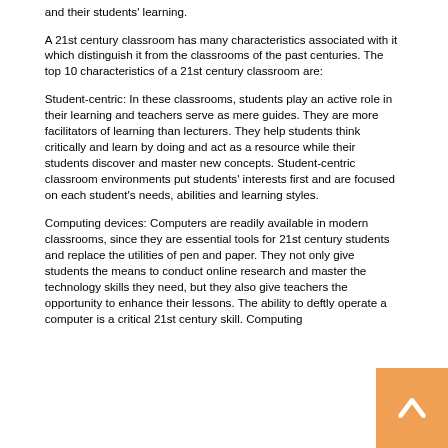and their students' learning.
A 21st century classroom has many characteristics associated with it which distinguish it from the classrooms of the past centuries. The top 10 characteristics of a 21st century classroom are:
Student-centric: In these classrooms, students play an active role in their learning and teachers serve as mere guides. They are more facilitators of learning than lecturers. They help students think critically and learn by doing and act as a resource while their students discover and master new concepts. Student-centric classroom environments put students' interests first and are focused on each student's needs, abilities and learning styles.
Computing devices: Computers are readily available in modern classrooms, since they are essential tools for 21st century students and replace the utilities of pen and paper. They not only give students the means to conduct online research and master the technology skills they need, but they also give teachers the opportunity to enhance their lessons. The ability to deftly operate a computer is a critical 21st century skill. Computing